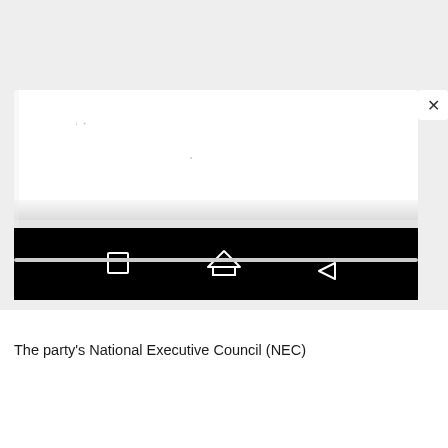[Figure (screenshot): Mobile device screenshot showing a modal/popup dialog box with close (X) button in top right, displaying a largely blank white document with faint markings, and a black Android navigation bar at the bottom with square, home, and back icons.]
The party's National Executive Council (NEC)